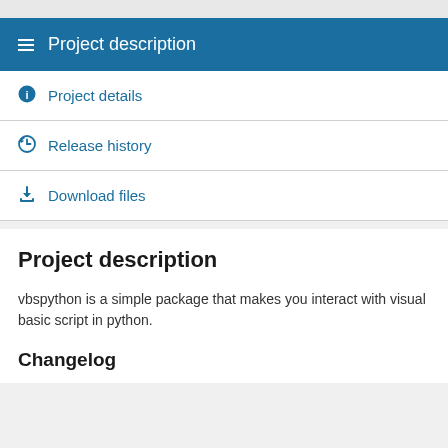Project description
Project details
Release history
Download files
Project description
vbspython is a simple package that makes you interact with visual basic script in python.
Changelog